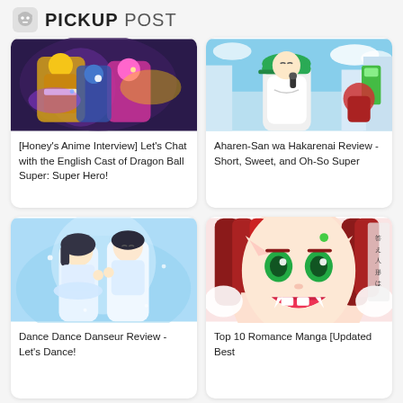PICKUP POST
[Figure (illustration): Anime fight scene from Dragon Ball Super with colorful characters battling]
[Honey's Anime Interview] Let's Chat with the English Cast of Dragon Ball Super: Super Hero!
[Figure (illustration): Anime character with green cap holding microphone, singing or rapping outdoors]
Aharen-San wa Hakarenai Review - Short, Sweet, and Oh-So Super
[Figure (illustration): Two anime characters dancing together in a romantic/gentle scene]
Dance Dance Danseur Review - Let's Dance!
[Figure (illustration): Anime girl with red hair and pointy ears smiling widely, manga art style]
Top 10 Romance Manga [Updated Best